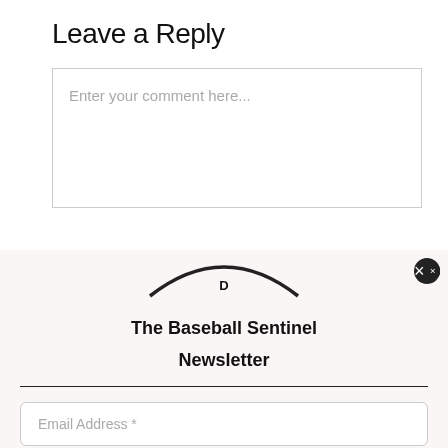Leave a Reply
Enter your comment here...
[Figure (logo): Circular arc logo with letter D in the center, styled as a baseball-themed emblem]
The Baseball Sentinel Newsletter
Email Address *